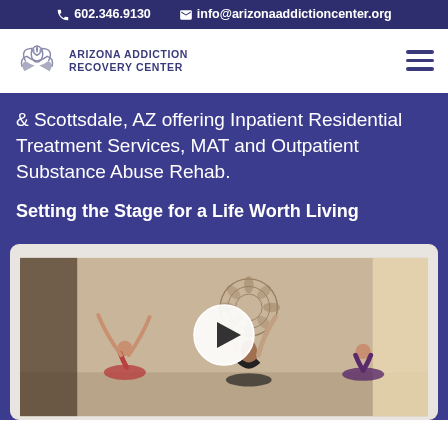602.346.9130   info@arizonaaddictioncenter.org
[Figure (logo): Arizona Addiction Recovery Center logo with lotus flower icon]
& Scottsdale, AZ offering Inpatient Residential Treatment Services, MAT and Outpatient Substance Abuse Rehab.
Setting the Stage for a Life Worth Living
[Figure (photo): Video thumbnail showing yoga class with women sitting and raising arms, mandala decoration on wall, with white circular play button overlay]